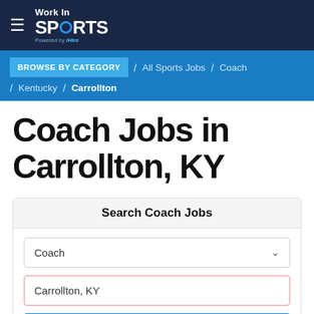Work In SPORTS — Powered by iHire
BROWSE BY CATEGORY / All Sports Jobs / Coach / Kentucky / Carrollton
Coach Jobs in Carrollton, KY
Search Coach Jobs
Coach [dropdown]
Carrollton, KY
SEARCH